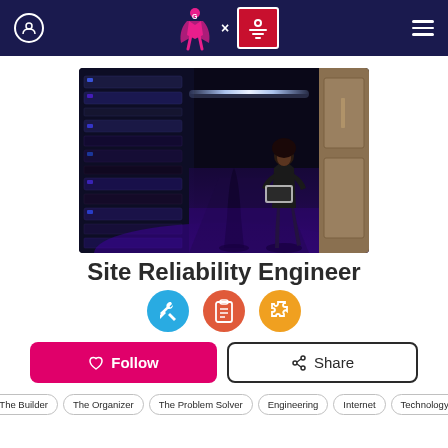Gotit x Foothill College — navigation header
[Figure (photo): Woman in black outfit walking through a server room corridor, holding a laptop, with server racks on the left and reflective floor showing corridor lighting]
Site Reliability Engineer
[Figure (infographic): Three circular icons: teal tools/wrench icon, red clipboard/checklist icon, orange puzzle piece icon]
Follow   Share
The Builder
The Organizer
The Problem Solver
Engineering
Internet
Technology